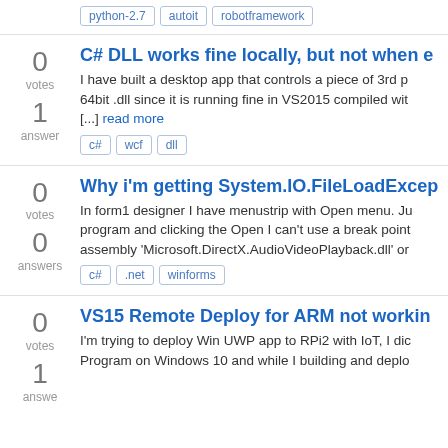python-2.7  autoit  robotframework
C# DLL works fine locally, but not when e…
I have built a desktop app that controls a piece of 3rd p… 64bit .dll since it is running fine in VS2015 compiled wit… [...] read more
c#  wcf  dll
Why i'm getting System.IO.FileLoadExcep…
In form1 designer I have menustrip with Open menu. Ju… program and clicking the Open I can't use a break point… assembly 'Microsoft.DirectX.AudioVideoPlayback.dll' or…
c#  .net  winforms
VS15 Remote Deploy for ARM not workin…
I'm trying to deploy Win UWP app to RPi2 with IoT, I dic… Program on Windows 10 and while I building and deplo…